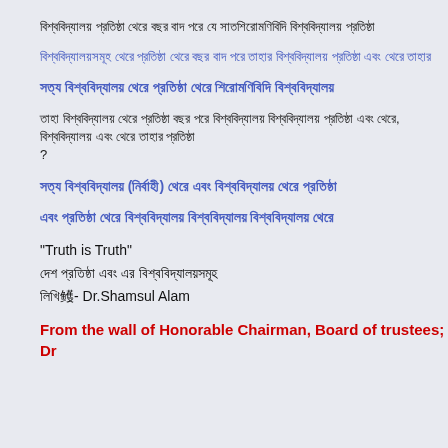[Bengali/Hindi script text - line 1]
[Bengali/Hindi script text - line 2, blue]
[Bengali/Hindi script text - line 3, blue bold]
[Bengali/Hindi script text - line 4, dark, question]
[Bengali/Hindi script text - line 5, blue bold]
[Bengali/Hindi script text - line 6, blue bold]
"Truth is Truth"
[Bengali script]
[Bengali script]- Dr.Shamsul Alam
From the wall of Honorable Chairman, Board of trustees; Dr...